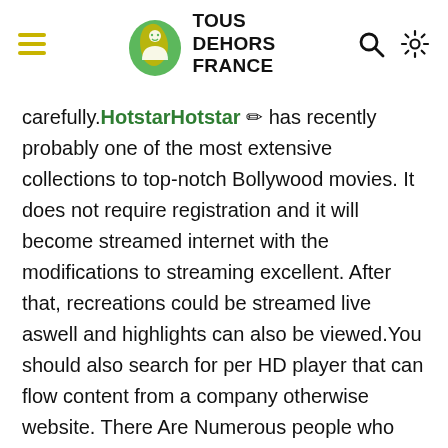Tous Dehors France — navigation header with hamburger menu, logo, search and settings icons
carefully.HotstarHotstar ✏ has recently probably one of the most extensive collections to top-notch Bollywood movies. It does not require registration and it will become streamed internet with the modifications to streaming excellent. After that, recreations could be streamed live aswell and highlights can also be viewed.You should also search for per HD player that can flow content from a company otherwise website. There Are Numerous people who wish to observe movies on line still need issues buying access to certain web sites due to their cost foruse.If you'd like to notice a set that's causing per sensation now, Moviesto is amongst the advisable serial productions of recent times your drama that'll help keep you inside